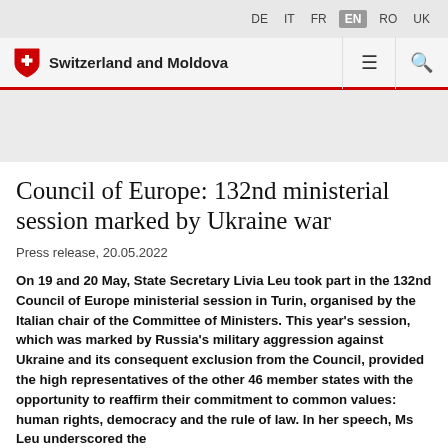DE  IT  FR  EN  RO  UK
Switzerland and Moldova
Council of Europe: 132nd ministerial session marked by Ukraine war
Press release, 20.05.2022
On 19 and 20 May, State Secretary Livia Leu took part in the 132nd Council of Europe ministerial session in Turin, organised by the Italian chair of the Committee of Ministers. This year's session, which was marked by Russia's military aggression against Ukraine and its consequent exclusion from the Council, provided the high representatives of the other 46 member states with the opportunity to reaffirm their commitment to common values: human rights, democracy and the rule of law. In her speech, Ms Leu underscored the